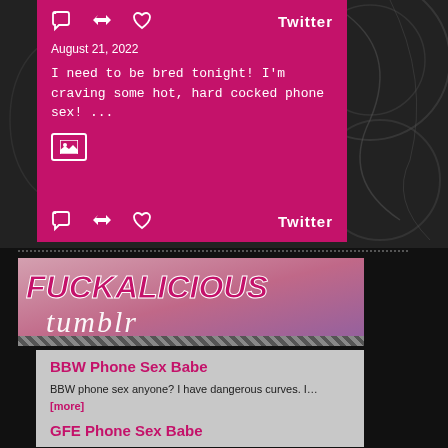[Figure (screenshot): Twitter/social media card with pink/magenta background showing tweet actions (comment, retweet, like icons) and Twitter label at top, date August 21, 2022, tweet text about phone sex, image icon, and bottom action bar]
[Figure (screenshot): Fuckalicious Tumblr banner with stylized text logo in pink/magenta and white on gradient background]
BBW Phone Sex Babe
BBW phone sex anyone? I have dangerous curves. I… [more]
GFE Phone Sex Babe